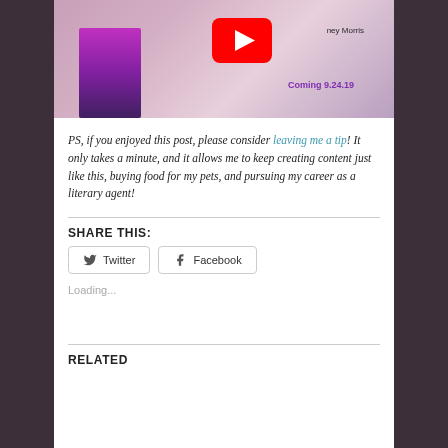[Figure (screenshot): Screenshot of a book cover for a YA novel with a YouTube play button overlay. Text reads 'Britney Morris', 'Coming 9.24.19'. Book cover shows a young woman with curly hair.]
PS, if you enjoyed this post, please consider leaving me a tip! It only takes a minute, and it allows me to keep creating content just like this, buying food for my pets, and pursuing my career as a literary agent!
SHARE THIS:
Twitter  Facebook
Loading...
RELATED